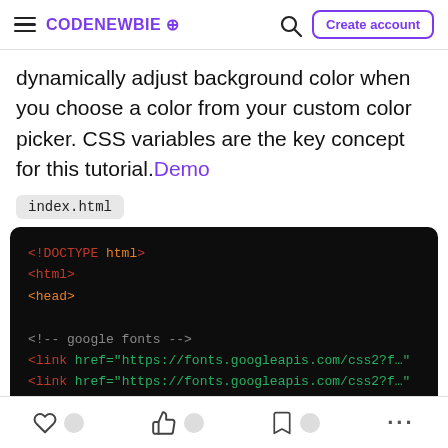CodeNewbie — Create account
dynamically adjust background color when you choose a color from your custom color picker. CSS variables are the key concept for this tutorial. Demo
index.html
[Figure (screenshot): Code editor screenshot showing HTML boilerplate: <!DOCTYPE html>, <html>, <head>, <!-- google fonts --> comment, two <link href="https://fonts.googleapis.com/css2?f..."> lines, and <!--import style sheet--> comment, displayed on a dark background with syntax highlighting (orange tags, green attributes).]
Like | Unicorn | Bookmark | More options